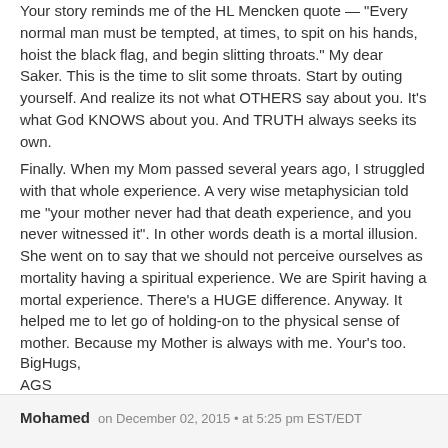Your story reminds me of the HL Mencken quote — "Every normal man must be tempted, at times, to spit on his hands, hoist the black flag, and begin slitting throats." My dear Saker. This is the time to slit some throats. Start by outing yourself. And realize its not what OTHERS say about you. It's what God KNOWS about you. And TRUTH always seeks its own.
Finally. When my Mom passed several years ago, I struggled with that whole experience. A very wise metaphysician told me "your mother never had that death experience, and you never witnessed it". In other words death is a mortal illusion. She went on to say that we should not perceive ourselves as mortality having a spiritual experience. We are Spirit having a mortal experience. There's a HUGE difference. Anyway. It helped me to let go of holding-on to the physical sense of mother. Because my Mother is always with me. Your's too.
BigHugs,
AGS
Reply
Mohamed   on December 02, 2015  •  at 5:25 pm EST/EDT